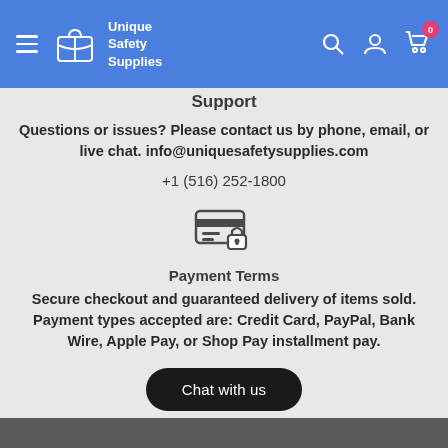Unique Safety Supplies — Navigation bar with hamburger menu, logo, search, account, and cart (0 items)
Support
Questions or issues? Please contact us by phone, email, or live chat. info@uniquesafetysupplies.com
+1 (516) 252-1800
[Figure (illustration): Secure payment / locked credit card icon]
Payment Terms
Secure checkout and guaranteed delivery of items sold. Payment types accepted are: Credit Card, PayPal, Bank Wire, Apple Pay, or Shop Pay installment pay.
Chat with us